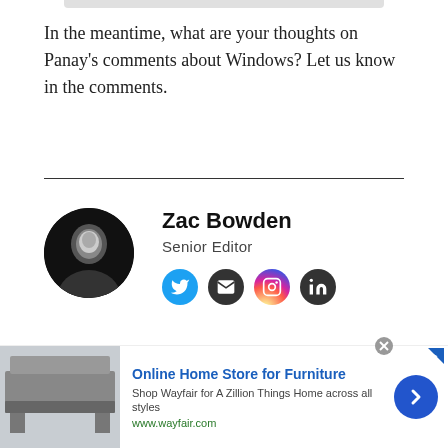In the meantime, what are your thoughts on Panay's comments about Windows? Let us know in the comments.
[Figure (illustration): Horizontal divider line separating article body from author bio section]
[Figure (photo): Circular black and white headshot photo of Zac Bowden, Senior Editor]
Zac Bowden
Senior Editor
[Figure (infographic): Row of four social media icons: Twitter (blue), Email (dark), Instagram (pink/gradient), LinkedIn (dark)]
Zac Bowden is a Senior Editor at Windows Central. Bringing you exclusive coverage into the world of Windows 10 on PCs, tablets, phones, and
[Figure (screenshot): Advertisement banner for Wayfair Online Home Store for Furniture with furniture image, text and blue arrow button]